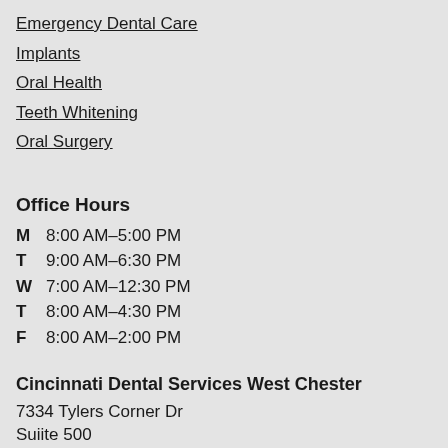Emergency Dental Care
Implants
Oral Health
Teeth Whitening
Oral Surgery
Office Hours
| Day | Hours |
| --- | --- |
| M | 8:00 AM–5:00 PM |
| T | 9:00 AM–6:30 PM |
| W | 7:00 AM–12:30 PM |
| T | 8:00 AM–4:30 PM |
| F | 8:00 AM–2:00 PM |
Cincinnati Dental Services West Chester
7334 Tylers Corner Dr
Suiite 500